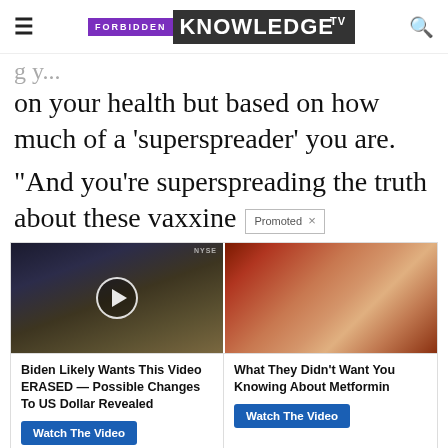FORBIDDEN KNOWLEDGE TV
on your health but based on how much of a ‘superspreader’ you are.
“And you’re superspreading the truth about these vaxxine
Promoted ×
[Figure (photo): Video thumbnail showing a man in a suit in front of NYSE trading floor background, with a play button overlay. News-style studio setting.]
[Figure (photo): Medical illustration showing internal organs, possibly pancreas, with reddish-brown tones and glowing details.]
Biden Likely Wants This Video ERASED — Possible Changes To US Dollar Revealed
Watch The Video
What They Didn't Want You Knowing About Metformin
Watch The Video